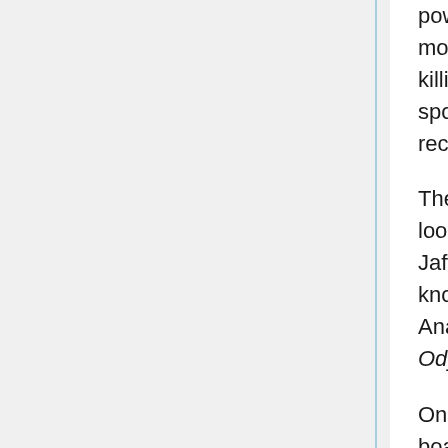powerful Tau'ri vessels. Anateo apparently recognized Netan's move. It was a foolhardy endeavor that he would likely fail at, killing him and quashing any ambitions he may have for Netan's spot as head of the Lucian Alliance. If successful, Netan would receive the credit.
The plan worked. The Odyssey arrived at the planned location, looking for the supergate they had heard was there by Free Jaffa allies. Instead, they met three of Anateo's ha'taks which knocked out the 304's hyperspace abilities in the first salvo. Anateo had also set up a minefield as a trap, which the Odyssey fled into and was thus crippled.
Once Odyssey was disabled, Anateo and a team of fifteen men boarded and corralled the injured crew into a cargo...